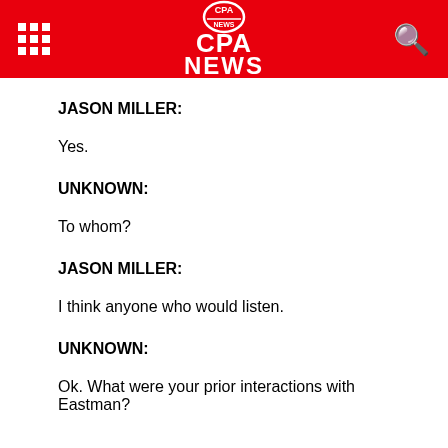CPA NEWS
JASON MILLER:
Yes.
UNKNOWN:
To whom?
JASON MILLER:
I think anyone who would listen.
UNKNOWN:
Ok. What were your prior interactions with Eastman?